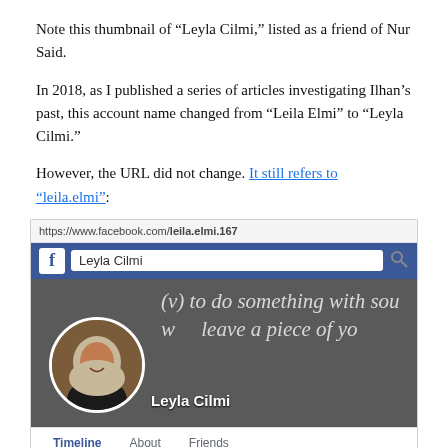Note this thumbnail of “Leyla Cilmi,” listed as a friend of Nur Said.
In 2018, as I published a series of articles investigating Ilhan’s past, this account name changed from “Leila Elmi” to “Leyla Cilmi.”
However, the URL did not change. It still refers to “leila.elmi”:
[Figure (screenshot): Screenshot of a Facebook profile page for Leyla Cilmi. The URL bar shows https://www.facebook.com/leila.elmi.167. The Facebook navigation bar shows the name 'Leyla Cilmi'. The cover photo has italic text reading '(v) to do something with sou... w... leave a piece of yo...' on a dark background. A circular profile photo shows a woman wearing a hijab. Below the cover photo is the name 'Leyla Cilmi' and navigation tabs: Timeline, About, Friends.]